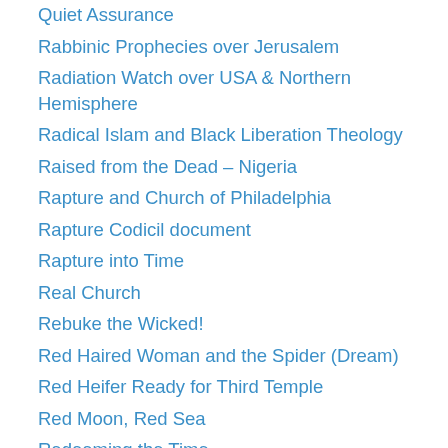Quiet Assurance
Rabbinic Prophecies over Jerusalem
Radiation Watch over USA & Northern Hemisphere
Radical Islam and Black Liberation Theology
Raised from the Dead – Nigeria
Rapture and Church of Philadelphia
Rapture Codicil document
Rapture into Time
Real Church
Rebuke the Wicked!
Red Haired Woman and the Spider (Dream)
Red Heifer Ready for Third Temple
Red Moon, Red Sea
Redeeming the Time
Redeeming the Time – 3
Redeeming the Time – 2
Reincarnation and Christianity
Religious Spirits
Religious Spirits 2
Remote Viewing vs. Biblical Prophecy